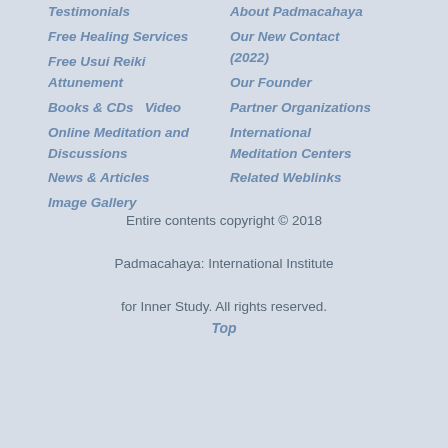Testimonials
Free Healing Services
Free Usui Reiki Attunement
Books & CDs   Video
Online Meditation and Discussions
News & Articles
Image Gallery
About Padmacahaya
Our New Contact (2022)
Our Founder
Partner Organizations
International Meditation Centers
Related Weblinks
Entire contents copyright © 2018

Padmacahaya: International Institute

for Inner Study. All rights reserved.
Top